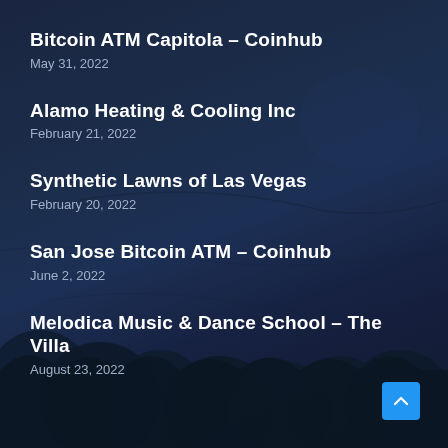Bitcoin ATM Capitola – Coinhub
May 31, 2022
Alamo Heating & Cooling Inc
February 21, 2022
Synthetic Lawns of Las Vegas
February 20, 2022
San Jose Bitcoin ATM – Coinhub
June 2, 2022
Melodica Music & Dance School – The Villa
August 23, 2022